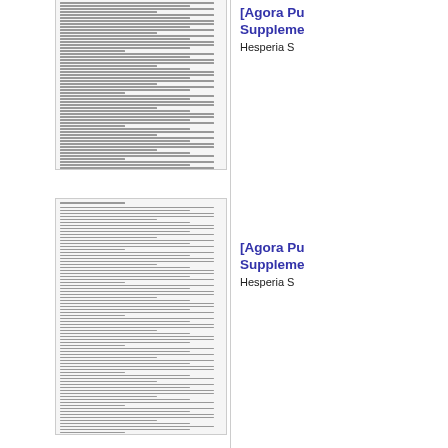[Figure (screenshot): Thumbnail of a text page from Agora Publications Hesperia Supplement, first entry (top)]
[Agora Publications Supplement]
Hesperia S...
[Figure (screenshot): Thumbnail of a text page from Agora Publications Hesperia Supplement, second entry]
[Agora Publications Supplement]
Hesperia S...
[Figure (screenshot): Thumbnail of a text page from Agora Publications Hesperia Supplement, third entry]
[Agora Publications Supplement]
Hesperia S...
[Figure (screenshot): Thumbnail of a text page from Agora Publications Hesperia Supplement, fourth entry (bottom)]
[Agora Publications Supplement]
Hesperia S...